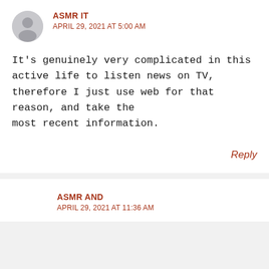ASMR IT
APRIL 29, 2021 AT 5:00 AM
It's genuinely very complicated in this active life to listen news on TV, therefore I just use web for that reason, and take the most recent information.
Reply
ASMR AND
APRIL 29, 2021 AT 11:36 AM